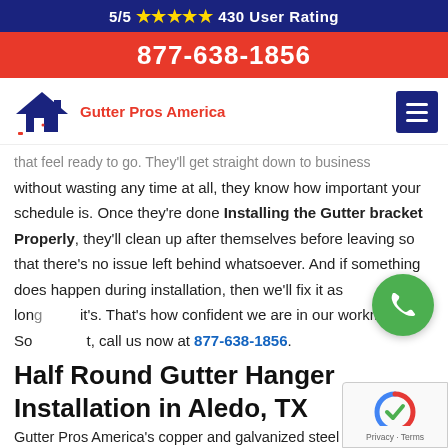5/5 ★★★★★ 430 User Rating
877-638-1856
[Figure (logo): Gutter Pros America logo with house/roof icon and red text]
that feel ready to go. They'll get straight down to business without wasting any time at all, they know how important your schedule is. Once they're done Installing the Gutter bracket Properly, they'll clean up after themselves before leaving so that there's no issue left behind whatsoever. And if something does happen during installation, then we'll fix it as long it's. That's how confident we are in our workmanship, So call us now at 877-638-1856.
Half Round Gutter Hanger Installation in Aledo, TX
Gutter Pros America's copper and galvanized steel half round